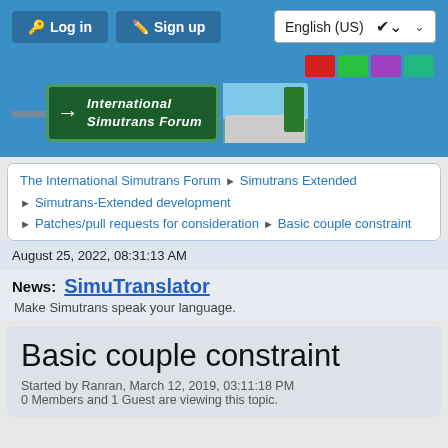[Figure (screenshot): Header bar with Log in and Sign up buttons, English (US) language selector dropdown]
[Figure (screenshot): Color theme squares: red, green, purple, teal on blue background]
[Figure (logo): International Simutrans Forum logo with green road sign and arrow, train illustration]
The International Simutrans Forum ► Simutrans Extended
► Simutrans-Extended development
► Patches/pull requests for consideration ► Basic couple constraint
August 25, 2022, 08:31:13 AM
News: SimuTranslator
Make Simutrans speak your language.
Basic couple constraint
Started by Ranran, March 12, 2019, 03:11:18 PM
0 Members and 1 Guest are viewing this topic.